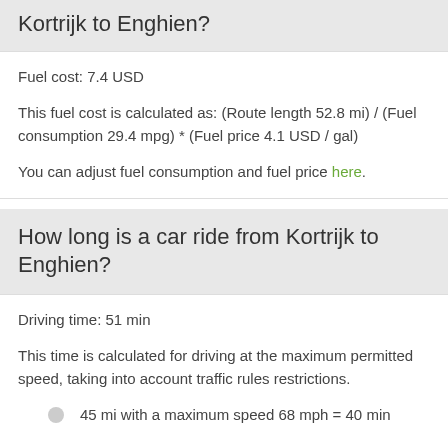Kortrijk to Enghien?
Fuel cost: 7.4 USD
This fuel cost is calculated as: (Route length 52.8 mi) / (Fuel consumption 29.4 mpg) * (Fuel price 4.1 USD / gal)
You can adjust fuel consumption and fuel price here.
How long is a car ride from Kortrijk to Enghien?
Driving time: 51 min
This time is calculated for driving at the maximum permitted speed, taking into account traffic rules restrictions.
45 mi with a maximum speed 68 mph = 40 min